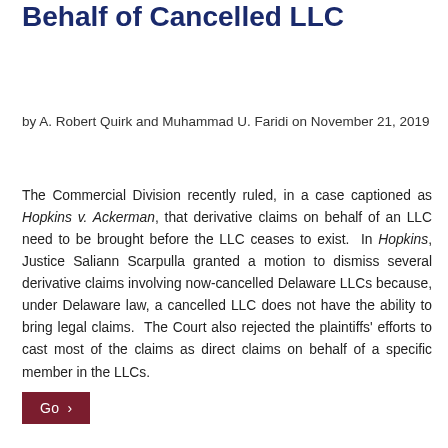Door to Derivative Claims on Behalf of Cancelled LLC
by A. Robert Quirk and Muhammad U. Faridi on November 21, 2019
The Commercial Division recently ruled, in a case captioned as Hopkins v. Ackerman, that derivative claims on behalf of an LLC need to be brought before the LLC ceases to exist.  In Hopkins, Justice Saliann Scarpulla granted a motion to dismiss several derivative claims involving now-cancelled Delaware LLCs because, under Delaware law, a cancelled LLC does not have the ability to bring legal claims.  The Court also rejected the plaintiffs' efforts to cast most of the claims as direct claims on behalf of a specific member in the LLCs.